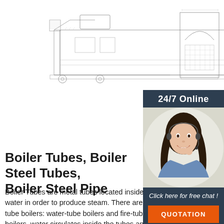[Figure (engineering-diagram): Technical engineering drawings of industrial boilers shown from side/front views with detailed mechanical components, tubes, and structural elements in line-drawing style.]
[Figure (photo): Customer service representative (woman with headset) with '24/7 Online' header, 'Click here for free chat!' text, and orange QUOTATION button on dark navy sidebar.]
Boiler Tubes, Boiler Steel Tubes, Boiler Steel Pipe
Boiler Tubes are metal tubes located inside of boilers that heat water in order to produce steam. There are two major types of tube boilers: water-tube boilers and fire-tube boilers. In water-tube boilers, water circulates inside the tubes and is heated externally by hot gases generated by the furnace.